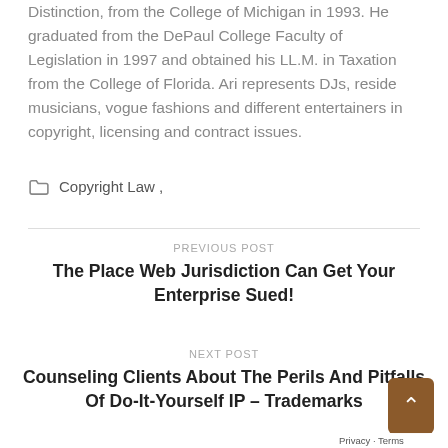Distinction, from the College of Michigan in 1993. He graduated from the DePaul College Faculty of Legislation in 1997 and obtained his LL.M. in Taxation from the College of Florida. Ari represents DJs, reside musicians, vogue fashions and different entertainers in copyright, licensing and contract issues.
Copyright Law ,
PREVIOUS POST
The Place Web Jurisdiction Can Get Your Enterprise Sued!
NEXT POST
Counseling Clients About The Perils And Pitfalls Of Do-It-Yourself IP – Trademarks